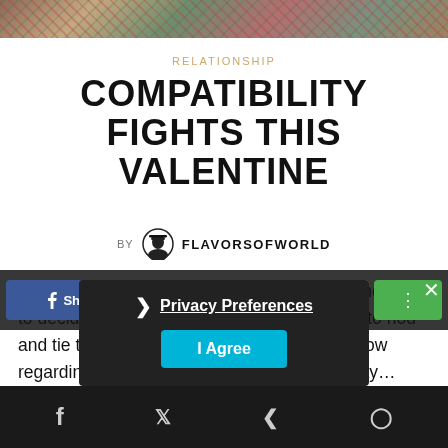[Figure (photo): Colorful textured surface photo strip at top of page]
RELATIONSHIP
COMPATIBILITY FIGHTS THIS VALENTINE
BY FLAVORSOFWORLD
Earlier in the 70s or the 80s it was parents who used to decide about marriages and the kids used to nod and tie the knots. The couple would get to know regarding each other after marriage or lets say...
[Figure (screenshot): Social share buttons bar with Facebook Share, Twitter, Pinterest, email, YouTube, and more icons on dark background with close X button]
[Figure (screenshot): Privacy Preferences popup overlay with chevron, underlined Privacy Preferences link, and I Agree button]
[Figure (screenshot): Bottom dark social footer bar with Facebook, Twitter, share, and WhatsApp icons]